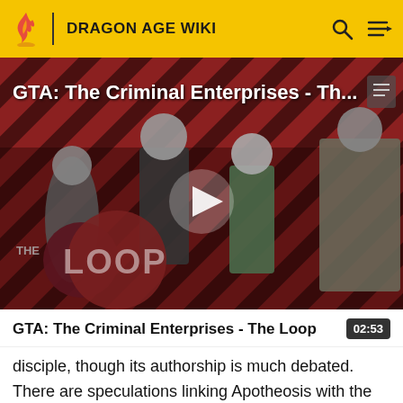DRAGON AGE WIKI
[Figure (screenshot): Video thumbnail for GTA: The Criminal Enterprises - The Loop, showing game characters against a red diagonal striped background with THE LOOP logo, and a play button in the center]
GTA: The Criminal Enterprises - The Loop
02:53
disciple, though its authorship is much debated. There are speculations linking Apotheosis with the Song of Betrayal, an older work referenced for the first time in -165 Ancient (five years before Maferath's betrayal became publicly